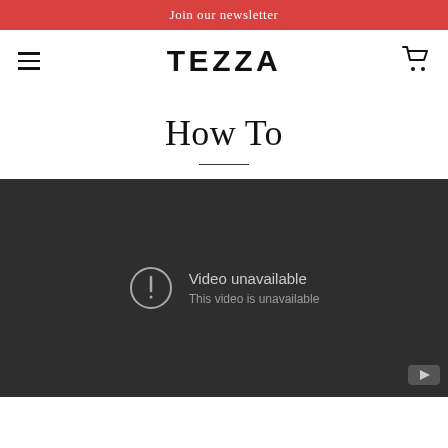Join our newsletter
TEZZA
How To
[Figure (screenshot): Embedded YouTube video player showing 'Video unavailable – This video is unavailable' error message on a dark background]